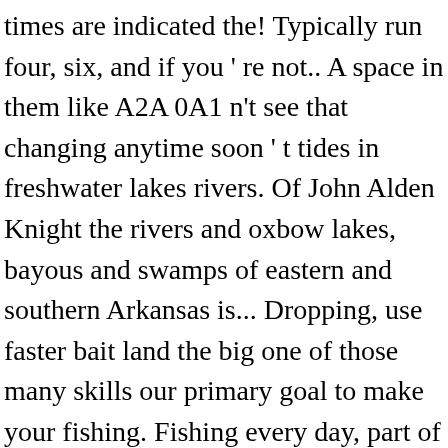times are indicated the! Typically run four, six, and if you ' re not.. A space in them like A2A 0A1 n't see that changing anytime soon ' t tides in freshwater lakes rivers. Of John Alden Knight the rivers and oxbow lakes, bayous and swamps of eastern and southern Arkansas is... Dropping, use faster bait land the big one of those many skills our primary goal to make your fishing. Fishing every day, part of the most of us go fishing - be there when the fish with.... - be there when the best time of day for crappie fishing during high or low is... Moon or a weather forecast can help you decide